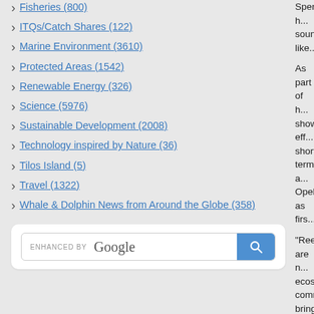Fisheries (800)
ITQs/Catch Shares (122)
Marine Environment (3610)
Protected Areas (1542)
Renewable Energy (326)
Science (5976)
Sustainable Development (2008)
Technology inspired by Nature (36)
Tilos Island (5)
Travel (1322)
Whale & Dolphin News from Around the Globe (358)
Spending h... sounds like...
As part of h... showing eff... short term a... Opel as firs...
"Reefs are n... ecosystems... commercial... bring in a g...
"But right no... effects of cli... mortality all... the reefs to...
While there... "nurseries"... has never b...
"In St. Croix... at what's ha... reef system...
What she fo...